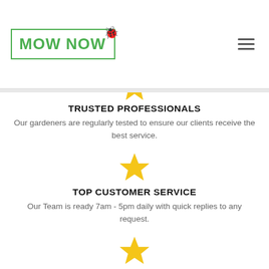MOW NOW (logo with ladybug and hamburger menu)
[Figure (illustration): Partial golden star icon at top of content area]
TRUSTED PROFESSIONALS
Our gardeners are regularly tested to ensure our clients receive the best service.
[Figure (illustration): Golden star icon]
TOP CUSTOMER SERVICE
Our Team is ready 7am - 5pm daily with quick replies to any request.
[Figure (illustration): Golden star icon]
SECURE ONLINE PAYMENT
Have the convenice of paying online with all receipts emailed to you.